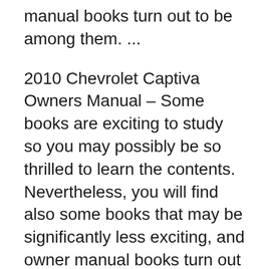manual books turn out to be among them. ...
2010 Chevrolet Captiva Owners Manual – Some books are exciting to study so you may possibly be so thrilled to learn the contents. Nevertheless, you will find also some books that may be significantly less exciting, and owner manual books turn out to be among them. ... 2010 Chevrolet Captiva Owners Manual – Some books are exciting to study so you may possibly be so thrilled to learn the contents. Nevertheless, you will find also some books that may be significantly less exciting, and owner manual books turn out to be among them. ...